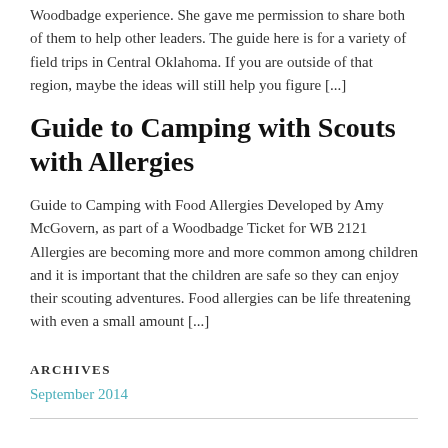Woodbadge experience.  She gave me permission to share both of them to help other leaders.  The guide here is for a variety of field trips in Central Oklahoma.  If you are outside of that region, maybe the ideas will still help you figure [...]
Guide to Camping with Scouts with Allergies
Guide to Camping with Food Allergies Developed by Amy McGovern, as part of a Woodbadge Ticket for WB 2121 Allergies are becoming more and more common among children and it is important that the children are safe so they can enjoy their scouting adventures.  Food allergies can be life threatening with even a small amount [...]
ARCHIVES
September 2014